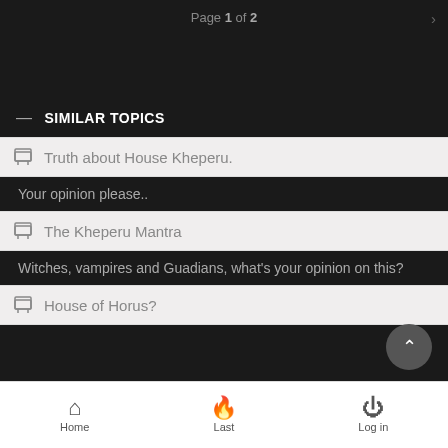Page 1 of 2
— SIMILAR TOPICS
Truth about House Kheperu.
Your opinion please..
The Kheperu Mantra
Witches, vampires and Guadians, what's your opinion on this?
House of Horus?
Home  Last  Log in